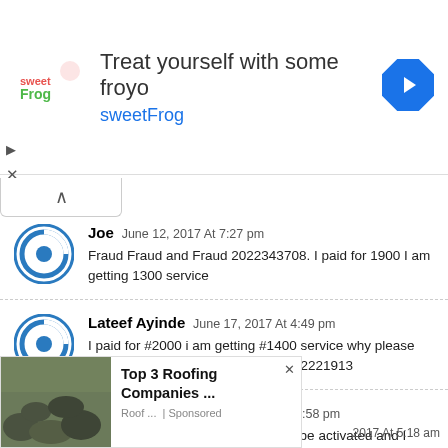[Figure (infographic): Advertisement banner for sweetFrog frozen yogurt with logo, text 'Treat yourself with some froyo', and navigation arrow icon]
Joe June 12, 2017 At 7:27 pm
Fraud Fraud and Fraud 2022343708. I paid for 1900 I am getting 1300 service
Lateef Ayinde June 17, 2017 At 4:49 pm
I paid for #2000 i am getting #1400 service why please upgrade my decoder abdullateef 202221913
shola oyekan June 29, 2017 At 11:58 pm
I paid thru quick teller 1800 still not be activated and I called customer care dey told me I still have balance of 100 to pay
[Figure (infographic): Bottom overlay advertisement for Top 3 Roofing Companies with a photo of rocks/roofing material, sponsored label, and close button]